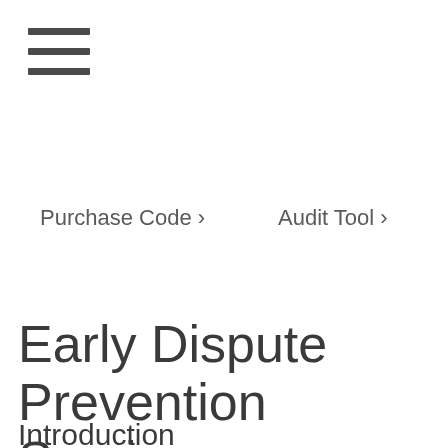[Figure (other): Hamburger menu icon with three horizontal lines]
Purchase Code ›
Audit Tool ›
Early Dispute Prevention Services
Introduction